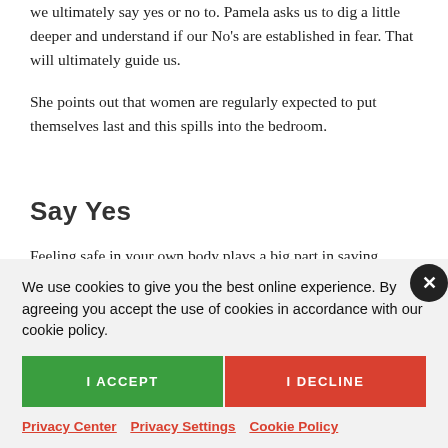we ultimately say yes or no to. Pamela asks us to dig a little deeper and understand if our No's are established in fear. That will ultimately guide us.
She points out that women are regularly expected to put themselves last and this spills into the bedroom.
Say Yes
Feeling safe in your own body plays a big part in saving
We use cookies to give you the best online experience. By agreeing you accept the use of cookies in accordance with our cookie policy.
I ACCEPT
I DECLINE
Privacy Center   Privacy Settings   Cookie Policy